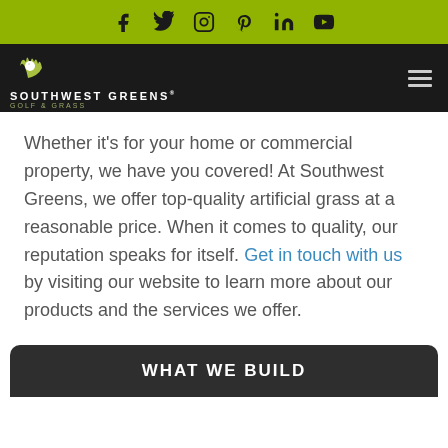Social media icons: Facebook, Twitter, Instagram, Pinterest, LinkedIn, YouTube
[Figure (logo): Southwest Greens Golf & Grass logo on dark background with hamburger menu icon]
Whether it's for your home or commercial property, we have you covered! At Southwest Greens, we offer top-quality artificial grass at a reasonable price. When it comes to quality, our reputation speaks for itself. Get in touch with us by visiting our website to learn more about our products and the services we offer.
WHAT WE BUILD